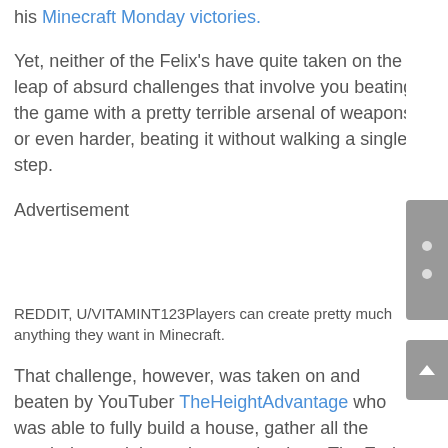his Minecraft Monday victories.
Yet, neither of the Felix's have quite taken on the leap of absurd challenges that involve you beating the game with a pretty terrible arsenal of weapons or even harder, beating it without walking a single step.
Advertisement
REDDIT, U/VITAMINT123Players can pretty much anything they want in Minecraft.
That challenge, however, was taken on and beaten by YouTuber TheHeightAdvantage who was able to fully build a house, gather all the needed materials, and even take down The Ender Dragon without even walking an inch.